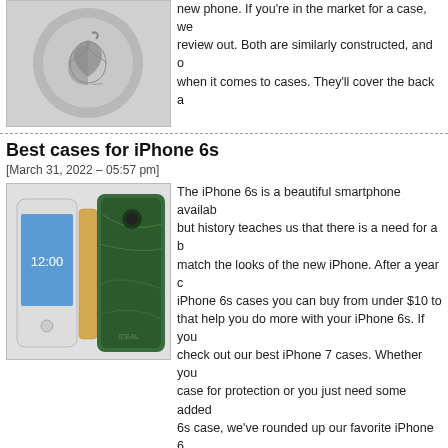[Figure (photo): Apple logo on a gray surface]
new phone. If you're in the market for a case, we review out. Both are similarly constructed, and o when it comes to cases. They'll cover the back a
Best cases for iPhone 6s
[March 31, 2022 – 05:57 pm]
[Figure (photo): iPhone 6s with green marble cases]
The iPhone 6s is a beautiful smartphone availab but history teaches us that there is a need for a b match the looks of the new iPhone. After a year c iPhone 6s cases you can buy from under $10 to that help you do more with your iPhone 6s. If you check out our best iPhone 7 cases. Whether you case for protection or you just need some added 6s case, we've rounded up our favorite iPhone 6
New iPhone 6 cases
[February 4, 2022 – 05:16 pm]
[Figure (photo): Colorful iPhone 6 cases stacked together]
Physically, the new phones are actually not too d predecessors, the iPhone 6S and iPhone 6S Plu cases designed for the last iPhones are compati Unfortunately, no. Most users upgrading to the n purchase new cases. The dimensions of the new enough to the old versions, but there is one not